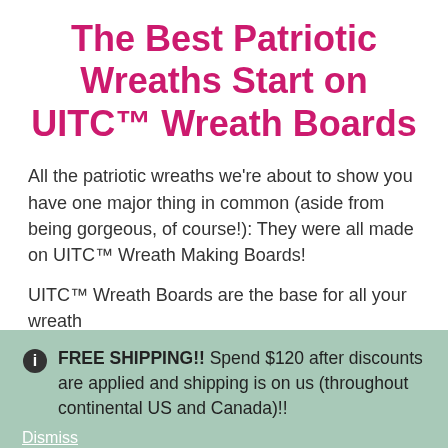The Best Patriotic Wreaths Start on UITC™ Wreath Boards
All the patriotic wreaths we're about to show you have one major thing in common (aside from being gorgeous, of course!): They were all made on UITC™ Wreath Making Boards!
UITC™ Wreath Boards are the base for all your wreath
FREE SHIPPING!! Spend $120 after discounts are applied and shipping is on us (throughout continental US and Canada)!!
Dismiss